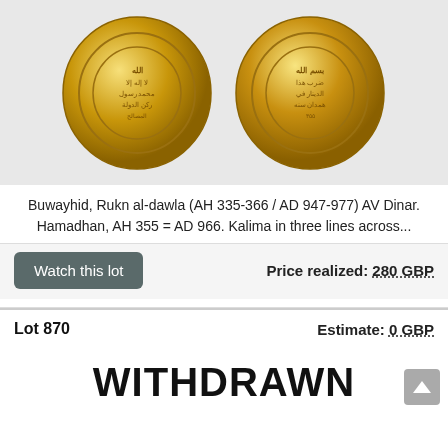[Figure (photo): Two gold Islamic coins (obverse and reverse) of the Buwayhid Dinar, showing Arabic inscriptions in concentric circles on golden backgrounds.]
Buwayhid, Rukn al-dawla (AH 335-366 / AD 947-977) AV Dinar. Hamadhan, AH 355 = AD 966. Kalima in three lines across...
Watch this lot
Price realized: 280 GBP
Lot 870
Estimate: 0 GBP
WITHDRAWN